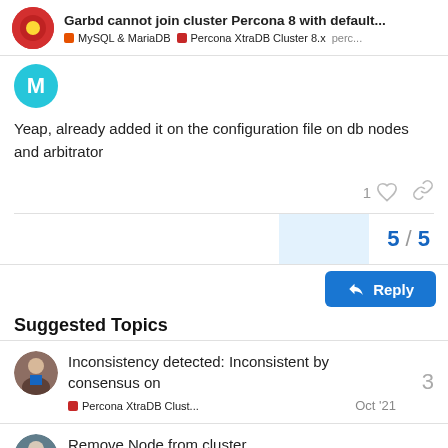Garbd cannot join cluster Percona 8 with default... | MySQL & MariaDB | Percona XtraDB Cluster 8.x | perc...
Yeap, already added it on the configuration file on db nodes and arbitrator
1
5 / 5
Reply
Suggested Topics
Inconsistency detected: Inconsistent by consensus on
Percona XtraDB Clust... Oct '21
Remove Node from cluster
Percona XtraDB Clust... Nov '21